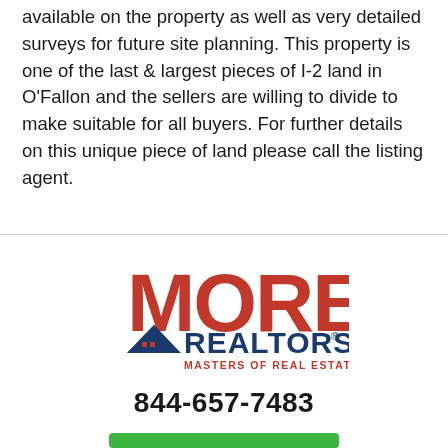available on the property as well as very detailed surveys for future site planning. This property is one of the last & largest pieces of I-2 land in O'Fallon and the sellers are willing to divide to make suitable for all buyers. For further details on this unique piece of land please call the listing agent.
[Figure (logo): MORE REALTORS - Masters Of Real Estate logo with red 'MORE' text, dark blue mountain/house icon and 'REALTORS' text, and 'Masters Of Real Estate.' tagline]
844-657-7483